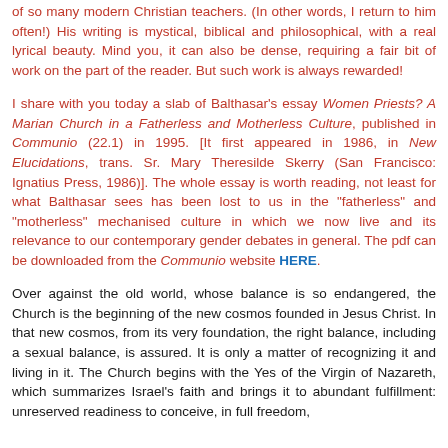of so many modern Christian teachers. (In other words, I return to him often!) His writing is mystical, biblical and philosophical, with a real lyrical beauty. Mind you, it can also be dense, requiring a fair bit of work on the part of the reader. But such work is always rewarded!
I share with you today a slab of Balthasar's essay Women Priests? A Marian Church in a Fatherless and Motherless Culture, published in Communio (22.1) in 1995. [It first appeared in 1986, in New Elucidations, trans. Sr. Mary Theresilde Skerry (San Francisco: Ignatius Press, 1986)]. The whole essay is worth reading, not least for what Balthasar sees has been lost to us in the "fatherless" and "motherless" mechanised culture in which we now live and its relevance to our contemporary gender debates in general. The pdf can be downloaded from the Communio website HERE.
Over against the old world, whose balance is so endangered, the Church is the beginning of the new cosmos founded in Jesus Christ. In that new cosmos, from its very foundation, the right balance, including a sexual balance, is assured. It is only a matter of recognizing it and living in it. The Church begins with the Yes of the Virgin of Nazareth, which summarizes Israel's faith and brings it to abundant fulfillment: unreserved readiness to conceive, in full freedom,